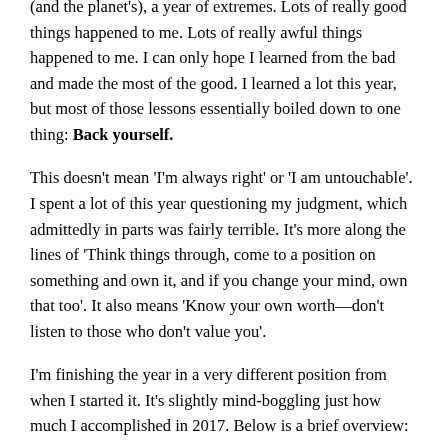(and the planet's), a year of extremes. Lots of really good things happened to me. Lots of really awful things happened to me. I can only hope I learned from the bad and made the most of the good. I learned a lot this year, but most of those lessons essentially boiled down to one thing: Back yourself.
This doesn't mean 'I'm always right' or 'I am untouchable'. I spent a lot of this year questioning my judgment, which admittedly in parts was fairly terrible. It's more along the lines of 'Think things through, come to a position on something and own it, and if you change your mind, own that too'. It also means 'Know your own worth—don't listen to those who don't value you'.
I'm finishing the year in a very different position from when I started it. It's slightly mind-boggling just how much I accomplished in 2017. Below is a brief overview: